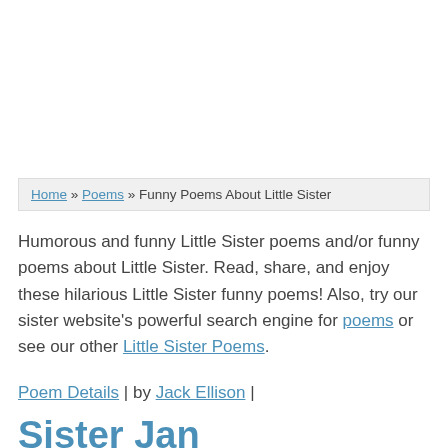Home » Poems » Funny Poems About Little Sister
Humorous and funny Little Sister poems and/or funny poems about Little Sister. Read, share, and enjoy these hilarious Little Sister funny poems! Also, try our sister website's powerful search engine for poems or see our other Little Sister Poems.
Poem Details | by Jack Ellison |
Sister Jan